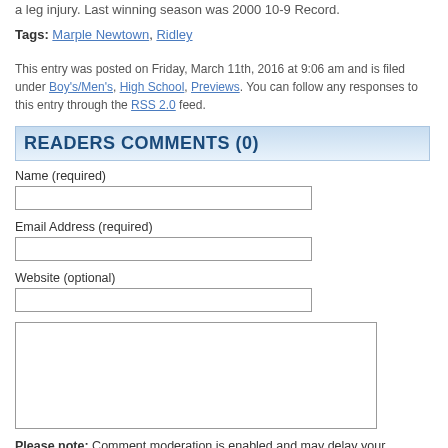a leg injury. Last winning season was 2000 10-9 Record.
Tags: Marple Newtown, Ridley
This entry was posted on Friday, March 11th, 2016 at 9:06 am and is filed under Boy's/Men's, High School, Previews. You can follow any responses to this entry through the RSS 2.0 feed.
READERS COMMENTS (0)
Name (required)
Email Address (required)
Website (optional)
Please note: Comment moderation is enabled and may delay your comment. There is no need to resubmit your comment.